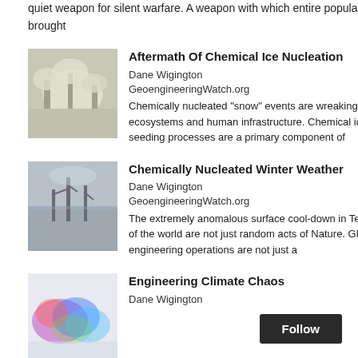quiet weapon for silent warfare. A weapon with which entire populations can be brought
[Figure (photo): Aftermath Of Chemical Ice Nucleation thumbnail - trees covered in ice/frost]
Aftermath Of Chemical Ice Nucleation
Dane Wigington GeoengineeringWatch.org Chemically nucleated "snow" events are wreaking havoc on forests, ecosystems and human infrastructure. Chemical ice nucleation cloud seeding processes are a primary component of
[Figure (photo): Chemically Nucleated Winter Weather thumbnail - bare trees in winter scene]
Chemically Nucleated Winter Weather
Dane Wigington GeoengineeringWatch.org The extremely anomalous surface cool-down in Texas and other parts of the world are not just random acts of Nature. Global climate engineering operations are not just a
[Figure (photo): Engineering Climate Chaos thumbnail - colorful weather/climate map]
Engineering Climate Chaos
Dane Wigington
the city, old trees and newly
leaves shrivelling, trunks le
branches, branches that loo
It was so shocking to see th
covered completely by wha
of some trees and their bra
loosing their precious skins.
What seems remarkable to
Most of these dying trees b
them you can see young fre
It broke my heart to see so
nobody noticing the pain of
them, letting them know tha
I am preparing a letter to Ci
Park Conservancy is the lea
cool and fairly wet for the pa
you and Dan